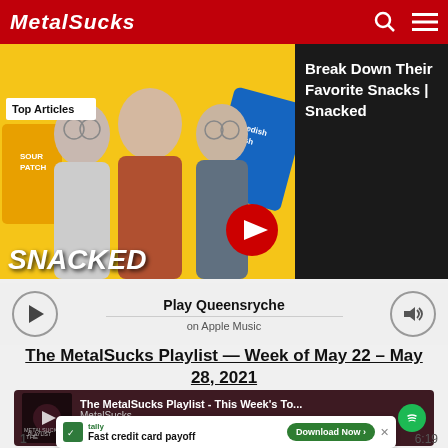MetalSucks
[Figure (screenshot): YouTube-style thumbnail showing three men in front of yellow background with Sour Patch Kids and Swedish Fish candy. Text reads SNACKED. Top Articles badge visible.]
Top Articles
Break Down Their Favorite Snacks | Snacked
Play Queensryche
on Apple Music
The MetalSucks Playlist — Week of May 22 – May 28, 2021
[Figure (screenshot): Spotify embedded player showing The MetalSucks Playlist - This Week's To... by MetalSucks. Duration 0:00 shown.]
The MetalSucks Playlist - This Week's To...
MetalSucks
0:00
[Figure (screenshot): Advertisement banner for Tally app: Fast credit card payoff. Download Now button.]